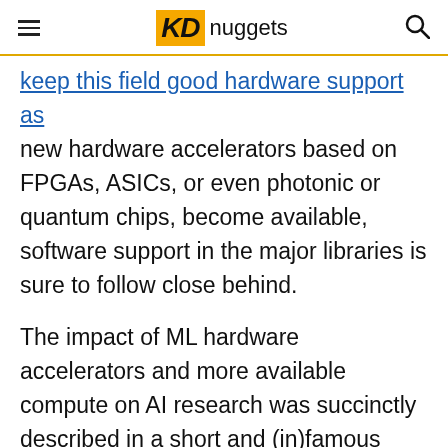KD nuggets
keep this field good hardware support as new hardware accelerators based on FPGAs, ASICs, or even photonic or quantum chips, become available, software support in the major libraries is sure to follow close behind.
The impact of ML hardware accelerators and more available compute on AI research was succinctly described in a short and (in)famous essay by Richard Sutton called “The Bitter Lesson.” In the essay, Sutton, who literally (co) wrote the book on reinforcement